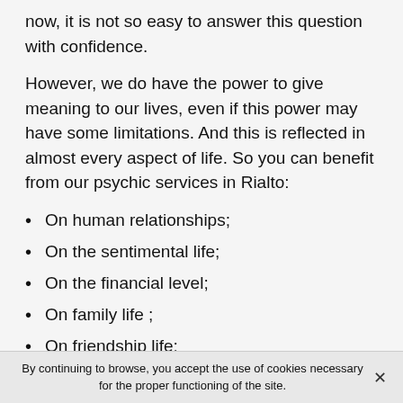now, it is not so easy to answer this question with confidence.
However, we do have the power to give meaning to our lives, even if this power may have some limitations. And this is reflected in almost every aspect of life. So you can benefit from our psychic services in Rialto:
On human relationships;
On the sentimental life;
On the financial level;
On family life ;
On friendship life;
On the law;
If you feel that your life has lost its meaning or that you are in distress, do not hesitate to contact us. We are able to
By continuing to browse, you accept the use of cookies necessary for the proper functioning of the site.